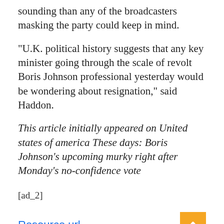sounding than any of the broadcasters masking the party could keep in mind.
“U.K. political history suggests that any key minister going through the scale of revolt Boris Johnson professional yesterday would be wondering about resignation,” said Haddon.
This article initially appeared on United states of america These days: Boris Johnson’s upcoming murky right after Monday’s no-confidence vote
[ad_2]
Resource url
Tags: In Law, Law May Be Defined As, Law Merit Badge, Law Nail